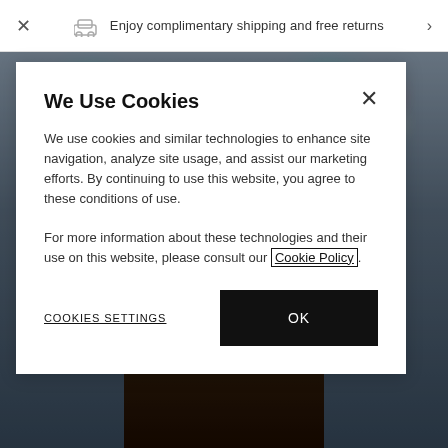✕  🚛  Enjoy complimentary shipping and free returns  ›
We Use Cookies
We use cookies and similar technologies to enhance site navigation, analyze site usage, and assist our marketing efforts. By continuing to use this website, you agree to these conditions of use.
For more information about these technologies and their use on this website, please consult our Cookie Policy.
COOKIES SETTINGS
OK
[Figure (photo): Blurred background photo of a woman wearing a tiara/crown with bokeh city lights in the background]